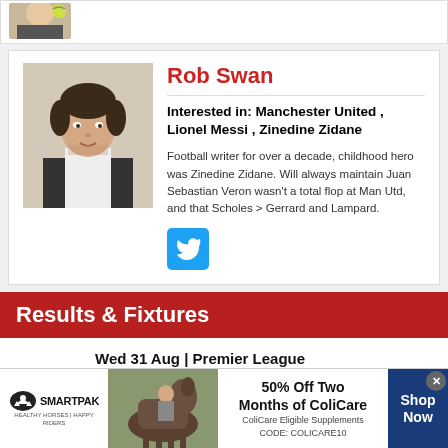[Figure (photo): Partial top card showing a photo of a person with a tennis ball, cropped at top]
Rob Swan
Interested in: Manchester United , Lionel Messi , Zinedine Zidane
Football writer for over a decade, childhood hero was Zinedine Zidane. Will always maintain Juan Sebastian Veron wasn't a total flop at Man Utd, and that Scholes > Gerrard and Lampard.
[Figure (logo): Twitter bird icon button in blue square]
Results & Fixtures
Wed 31 Aug | Premier League
[Figure (photo): SmartPak advertisement banner: 50% Off Two Months of ColiCare, ColiCare Eligible Supplements CODE: COLICARE10, with Shop Now button]